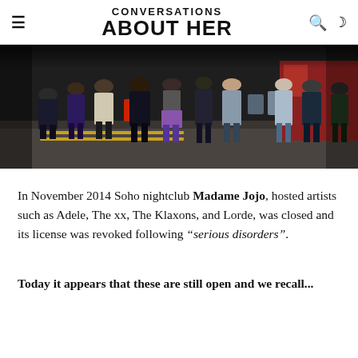CONVERSATIONS ABOUT HER
[Figure (photo): Nighttime street scene with a crowd of people standing on a pavement outside a venue, shot from low angle showing legs and lower bodies, urban night setting]
In November 2014 Soho nightclub Madame Jojo, hosted artists such as Adele, The xx, The Klaxons, and Lorde, was closed and its license was revoked following “serious disorders”.
Today it appears that these are still open and we recall...